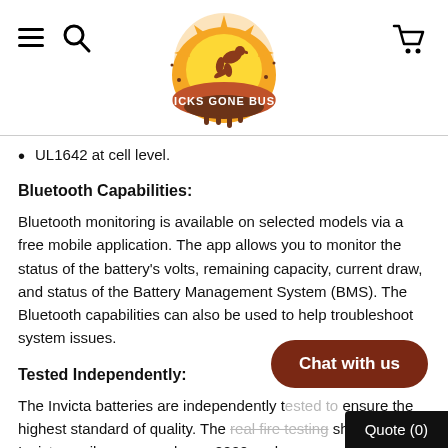Micks Gone Bush — navigation header with logo
UL1642 at cell level.
Bluetooth Capabilities:
Bluetooth monitoring is available on selected models via a free mobile application. The app allows you to monitor the status of the battery's volts, remaining capacity, current draw, and status of the Battery Management System (BMS). The Bluetooth capabilities can also be used to help troubleshoot system issues.
Tested Independently:
The Invicta batteries are independently t… ensure the highest standard of quality. The real fire testing shows that Invicta easily surpassed over 2000 cycles